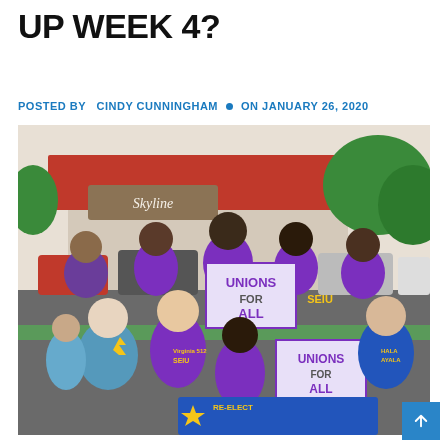UP WEEK 4?
POSTED BY  CINDY CUNNINGHAM  •  ON JANUARY 26, 2020
[Figure (photo): Group photo of people in purple SEIU Virginia 512 t-shirts and one person in a blue Hala Ayala t-shirt, holding 'Unions For All' signs and a 'Re-Elect' banner. They are standing outdoors in a parking lot area with trees and a brick building in the background.]